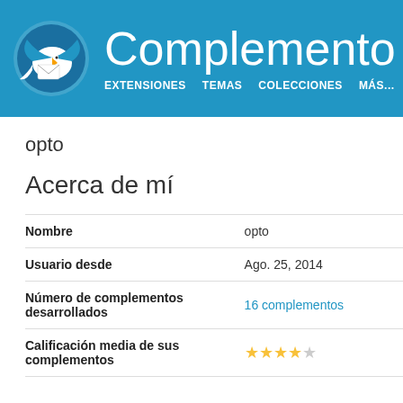Complementos — EXTENSIONES  TEMAS  COLECCIONES  MÁS...
opto
Acerca de mí
| Nombre | opto |
| Usuario desde | Ago. 25, 2014 |
| Número de complementos desarrollados | 16 complementos |
| Calificación media de sus complementos | ★★★★☆ |